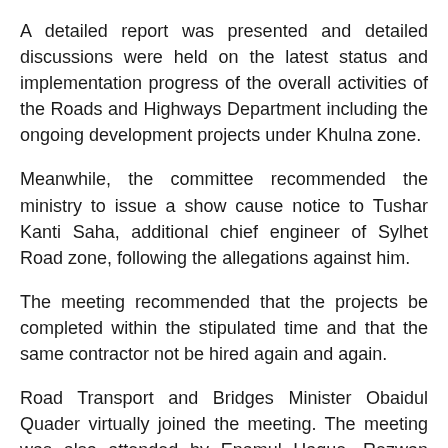A detailed report was presented and detailed discussions were held on the latest status and implementation progress of the overall activities of the Roads and Highways Department including the ongoing development projects under Khulna zone.
Meanwhile, the committee recommended the ministry to issue a show cause notice to Tushar Kanti Saha, additional chief engineer of Sylhet Road zone, following the allegations against him.
The meeting recommended that the projects be completed within the stipulated time and that the same contractor not be hired again and again.
Road Transport and Bridges Minister Obaidul Quader virtually joined the meeting. The meeting was also attended by Enamul Haque, Rezwan Ahmed Tawfiq, Md Salim Uddin Tarafdar, Sheikh Salahuddin and Marina